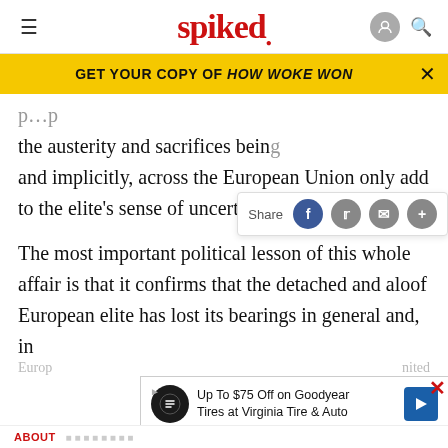spiked
GET YOUR COPY OF HOW WOKE WON
the austerity and sacrifices being and implicitly, across the European Union only add to the elite’s sense of uncertainty about what to do.
The most important political lesson of this whole affair is that it confirms that the detached and aloof European elite has lost its bearings in general and, in particular, its internal impetus to move forward with the ‘ever closer union’ envisaged by the various
Up To $75 Off on Goodyear Tires at Virginia Tire & Auto
ABOUT